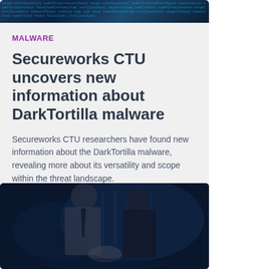[Figure (photo): Dark blue background with code/text overlay, resembling a hacking or cybersecurity terminal screen]
MALWARE
Secureworks CTU uncovers new information about DarkTortilla malware
Secureworks CTU researchers have found new information about the DarkTortilla malware, revealing more about its versatility and scope within the threat landscape.
[Figure (photo): Two people in formal attire (suits) shaking hands in a dark setting with blue-tinted server room or office background]